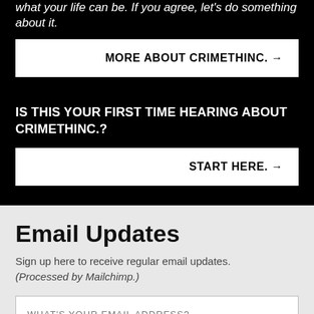what your life can be. If you agree, let's do something about it.
MORE ABOUT CRIMETHINC. →
IS THIS YOUR FIRST TIME HEARING ABOUT CRIMETHINC.?
START HERE. →
Email Updates
Sign up here to receive regular email updates. (Processed by Mailchimp.)
WHAT'S YOUR EMAIL ADDRESS?
Every little thing. (Many emails)